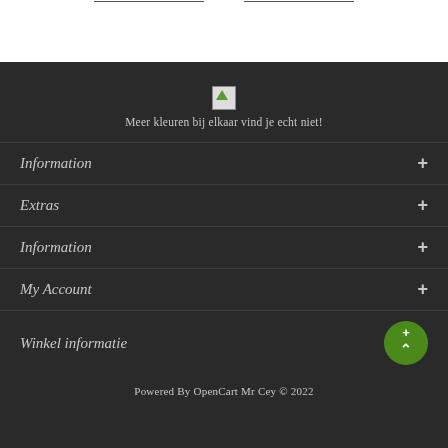[Figure (illustration): Small broken image placeholder icon centered in the dark footer area]
Meer kleuren bij elkaar vind je echt niet!
Information +
Extras +
Information +
My Account +
Winkel informatie +
Powered By OpenCart Mr Cey © 2022